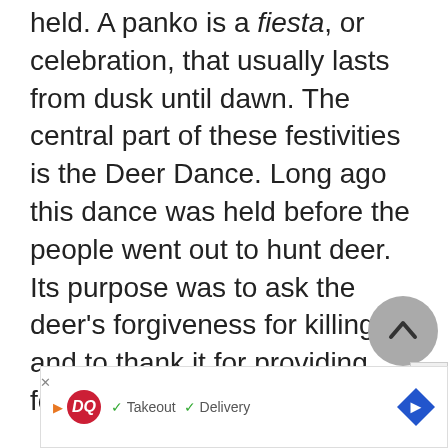held. A panko is a fiesta, or celebration, that usually lasts from dusk until dawn. The central part of these festivities is the Deer Dance. Long ago this dance was held before the people went out to hunt deer. Its purpose was to ask the deer's forgiveness for killing it and to thank it for providing food.
The Maaso, or Deer Dancer, wears a white cloth covering his hair with a dee... go... m...